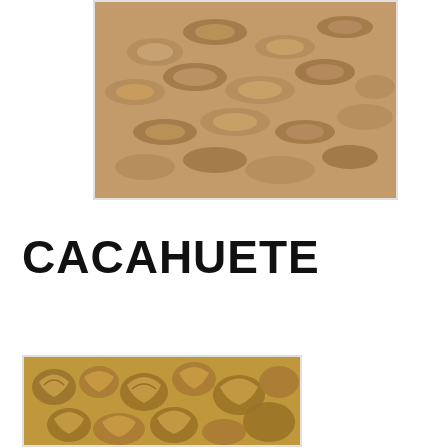[Figure (photo): Close-up photo of peanuts in their shells, filling the frame with a beige/brown color. Shown in a white-bordered frame.]
CACAHUETE
[Figure (photo): Close-up photo of shelled walnut halves and pieces, golden-brown color. Shown in a white-bordered frame at the bottom left.]